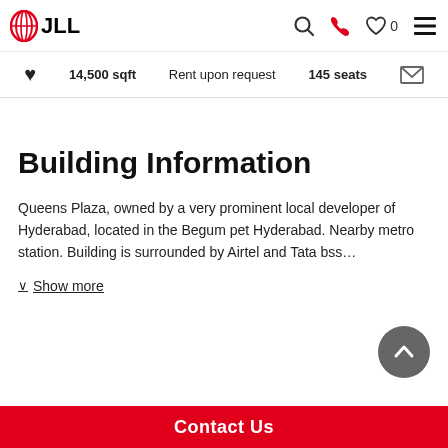JLL navigation bar with logo, search, phone, wishlist (0), and menu icons
14,500 sqft   Rent upon request   145 seats
Building Information
Queens Plaza, owned by a very prominent local developer of Hyderabad, located in the Begum pet Hyderabad. Nearby metro station. Building is surrounded by Airtel and Tata bss…
Show more
Contact Us